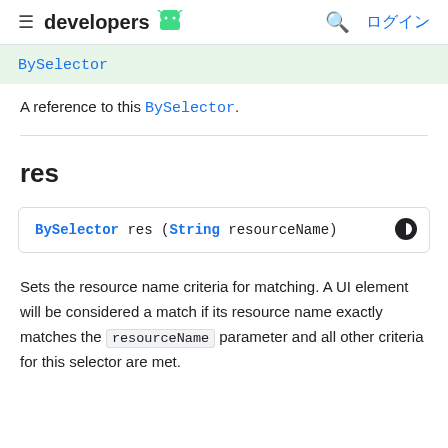≡ developers 🤖  🔍 ログイン
BySelector
A reference to this BySelector.
res
BySelector res (String resourceName)
Sets the resource name criteria for matching. A UI element will be considered a match if its resource name exactly matches the resourceName parameter and all other criteria for this selector are met.